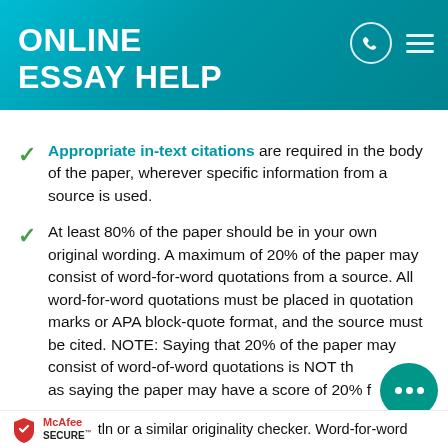ONLINE ESSAY HELP
Appropriate in-text citations are required in the body of the paper, wherever specific information from a source is used.
At least 80% of the paper should be in your own original wording. A maximum of 20% of the paper may consist of word-for-word quotations from a source. All word-for-word quotations must be placed in quotation marks or APA block-quote format, and the source must be cited. NOTE: Saying that 20% of the paper may consist of word-of-word quotations is NOT the same as saying the paper may have a score of 20% from Turnitin or a similar originality checker. Word-for-word
McAfee SECURE | tln or a similar originality checker. Word-for-word